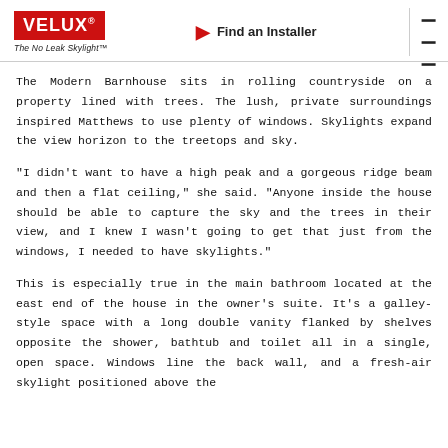VELUX® The No Leak Skylight™ | Find an Installer
The Modern Barnhouse sits in rolling countryside on a property lined with trees. The lush, private surroundings inspired Matthews to use plenty of windows. Skylights expand the view horizon to the treetops and sky.
"I didn't want to have a high peak and a gorgeous ridge beam and then a flat ceiling," she said. "Anyone inside the house should be able to capture the sky and the trees in their view, and I knew I wasn't going to get that just from the windows, I needed to have skylights."
This is especially true in the main bathroom located at the east end of the house in the owner's suite. It's a galley-style space with a long double vanity flanked by shelves opposite the shower, bathtub and toilet all in a single, open space. Windows line the back wall, and a fresh-air skylight positioned above the